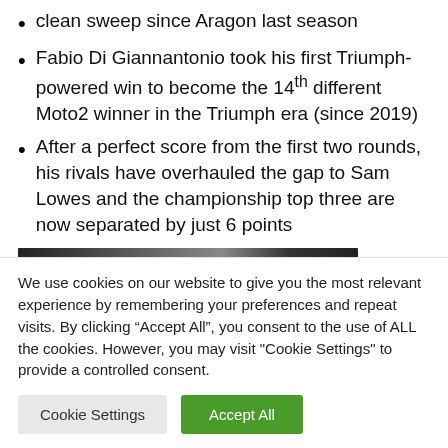clean sweep since Aragon last season
Fabio Di Giannantonio took his first Triumph-powered win to become the 14th different Moto2 winner in the Triumph era (since 2019)
After a perfect score from the first two rounds, his rivals have overhauled the gap to Sam Lowes and the championship top three are now separated by just 6 points
[Figure (photo): Partial image strip visible at top of cookie banner section]
We use cookies on our website to give you the most relevant experience by remembering your preferences and repeat visits. By clicking “Accept All”, you consent to the use of ALL the cookies. However, you may visit "Cookie Settings" to provide a controlled consent.
Cookie Settings | Accept All